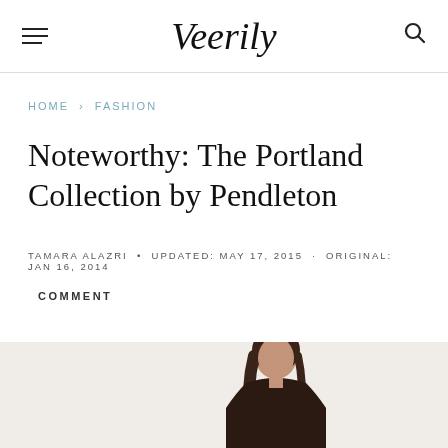Veerily
HOME › FASHION
Noteworthy: The Portland Collection by Pendleton
TAMARA ALAZRI • UPDATED: MAY 17, 2015 · ORIGINAL: JAN 16, 2014
COMMENT
[Figure (photo): A young woman with dark hair, wearing a dark blazer, photographed from the waist up against a light background]